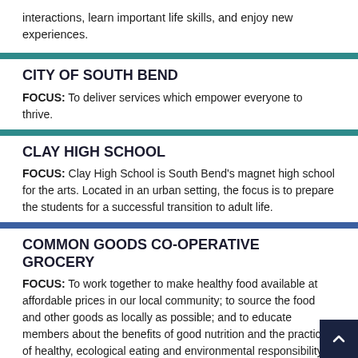interactions, learn important life skills, and enjoy new experiences.
CITY OF SOUTH BEND
FOCUS: To deliver services which empower everyone to thrive.
CLAY HIGH SCHOOL
FOCUS: Clay High School is South Bend's magnet high school for the arts. Located in an urban setting, the focus is to prepare the students for a successful transition to adult life.
COMMON GOODS CO-OPERATIVE GROCERY
FOCUS: To work together to make healthy food available at affordable prices in our local community; to source the food and other goods as locally as possible; and to educate members about the benefits of good nutrition and the practices of healthy, ecological eating and environmental responsibility.
CORVILLA, INC.
FOCUS: To provide homes, employment services, and educational